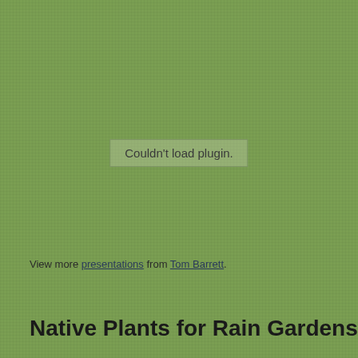[Figure (other): Embedded presentation viewer showing 'Couldn't load plugin.' error message on a green textured background]
View more presentations from Tom Barrett.
Native Plants for Rain Gardens